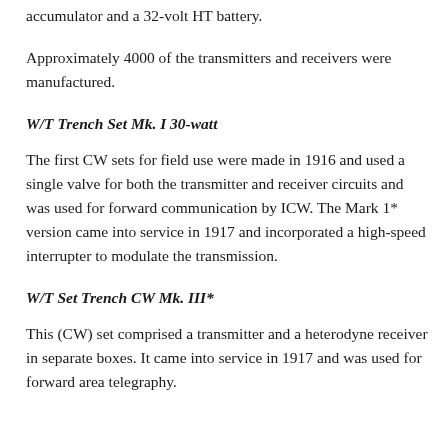accumulator and a 32-volt HT battery.
Approximately 4000 of the transmitters and receivers were manufactured.
W/T Trench Set Mk. I 30-watt
The first CW sets for field use were made in 1916 and used a single valve for both the transmitter and receiver circuits and was used for forward communication by ICW. The Mark 1* version came into service in 1917 and incorporated a high-speed interrupter to modulate the transmission.
W/T Set Trench CW Mk. III*
This (CW) set comprised a transmitter and a heterodyne receiver in separate boxes. It came into service in 1917 and was used for forward area telegraphy.